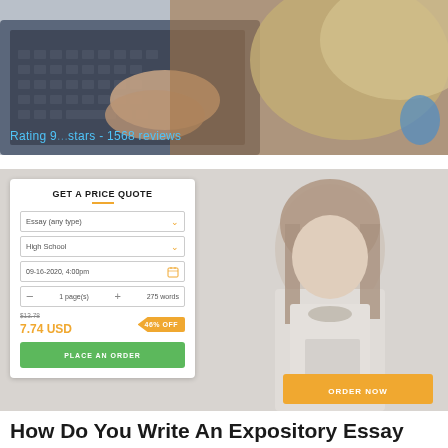[Figure (photo): Woman with blonde hair typing on a laptop keyboard, close-up overhead shot]
Rating 9... stars - 1568 reviews
[Figure (screenshot): Writing service website screenshot showing price quote widget with Essay (any type), High School dropdowns, date 09-16-2020, 4:00pm, 1 page/275 words, price 7.74 USD with 46% off, Place An Order green button, and Order Now orange button, alongside photo of woman reading]
How Do You Write An Expository Essay